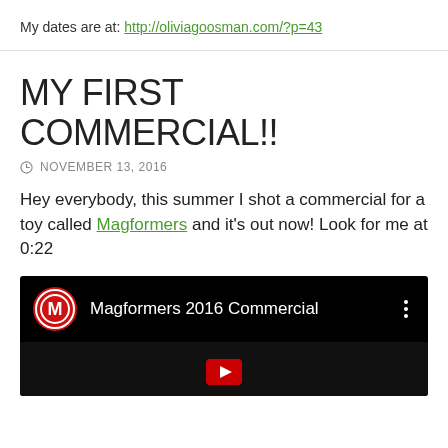My dates are at: http://oliviagoosman.com/?p=43
MY FIRST COMMERCIAL!!
NOVEMBER 13, 2016
Hey everybody, this summer I shot a commercial for a toy called Magformers and it's out now! Look for me at 0:22
[Figure (screenshot): YouTube video embed showing Magformers 2016 Commercial with Magformers red M logo on black background]